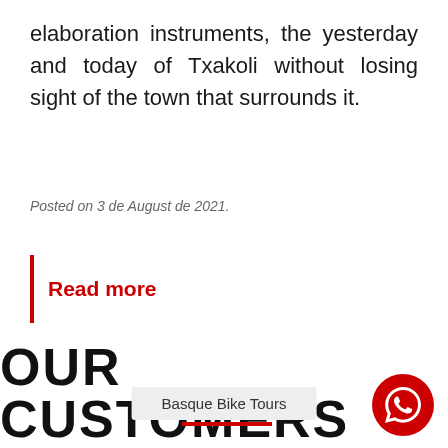elaboration instruments, the yesterday and today of Txakoli without losing sight of the town that surrounds it.
Posted on 3 de August de 2021.
Read more
OUR CUSTOMERS
Basque Bike Tours